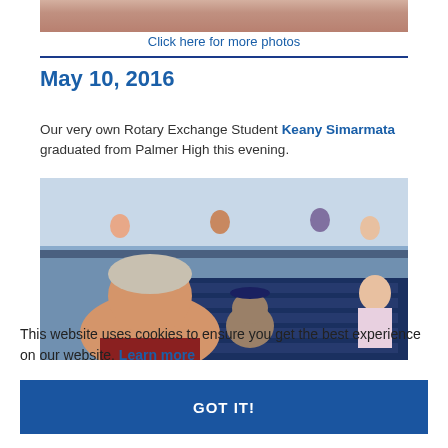[Figure (photo): Top portion of a photo showing people at an event, partially cropped]
Click here for more photos
May 10, 2016
Our very own Rotary Exchange Student Keany Simarmata graduated from Palmer High this evening.
[Figure (photo): Graduation photo taken inside a gymnasium/arena. A smiling man in the foreground with a graduate in blue cap visible behind him. Spectators visible on an upper level balcony.]
This website uses cookies to ensure you get the best experience on our website. Learn more
GOT IT!